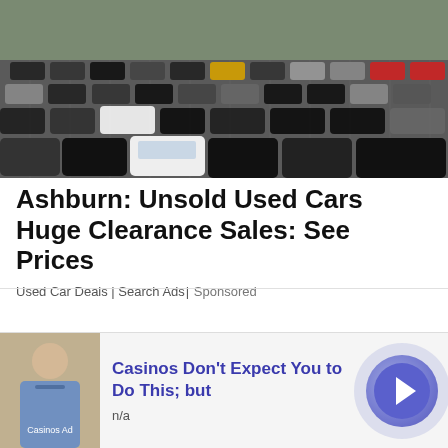[Figure (photo): Aerial view of a large car dealership lot with many rows of cars parked closely together, various colors including black, white, grey, and a yellow car visible.]
Ashburn: Unsold Used Cars Huge Clearance Sales: See Prices
Used Car Deals | Search Ads | Sponsored
[Figure (photo): Ad banner showing a man in a blue shirt on the left, with text 'Casinos Don't Expect You to Do This; but' in blue, 'n/a' below, and a blue circular arrow button on the right.]